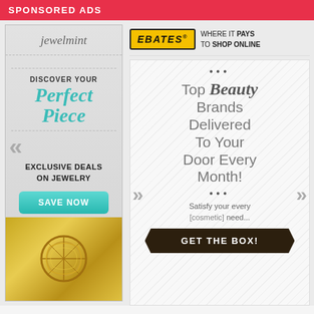SPONSORED ADS
[Figure (illustration): JewelMint advertisement: logo, 'DISCOVER YOUR Perfect Piece' text in teal italic, chevron left arrow, 'EXCLUSIVE DEALS ON JEWELRY', 'SAVE NOW' teal button, gold jewelry image at bottom]
[Figure (illustration): Ebates logo with tagline 'WHERE IT PAYS TO SHOP ONLINE']
[Figure (illustration): Beauty box subscription ad: decorative dots, 'Top Beauty Brands Delivered To Your Door Every Month!', chevron arrows, dots, 'Satisfy your every [cosmetic] need...', dark brown 'GET THE BOX!' button]